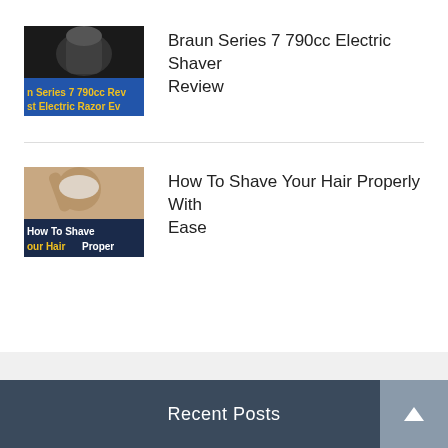[Figure (screenshot): Thumbnail of Braun Series 7 790cc electric shaver YouTube review video, showing a dark shaver with text overlay 'n Series 7 790cc Rev' and 'st Electric Razor Ev' in yellow on blue banner]
Braun Series 7 790cc Electric Shaver Review
[Figure (screenshot): Thumbnail of hair shaving tutorial video showing a man shaving his head, with text overlay 'How To Shave' and 'our Hair Proper' in yellow on dark blue banner]
How To Shave Your Hair Properly With Ease
Recent Posts